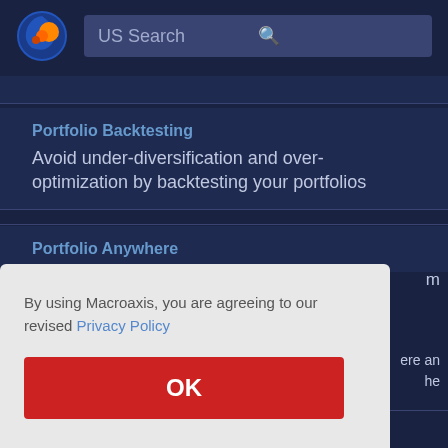[Figure (logo): Macroaxis logo — globe with orange and blue swirl]
US Search
Portfolio Backtesting
Avoid under-diversification and over-optimization by backtesting your portfolios
Portfolio Anywhere
By using Macroaxis, you are agreeing to our revised Privacy Policy
OK
Carvana Co. If investors know Carvana will grow in the